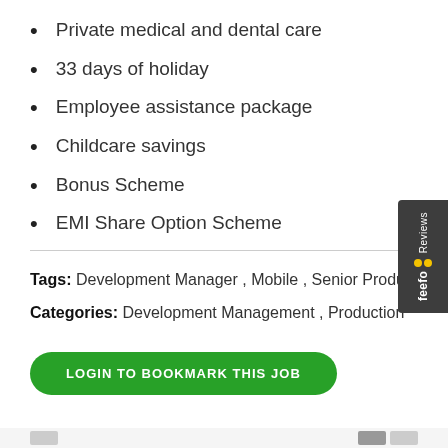Private medical and dental care
33 days of holiday
Employee assistance package
Childcare savings
Bonus Scheme
EMI Share Option Scheme
Tags: Development Manager , Mobile , Senior Producer
Categories: Development Management , Production
LOGIN TO BOOKMARK THIS JOB